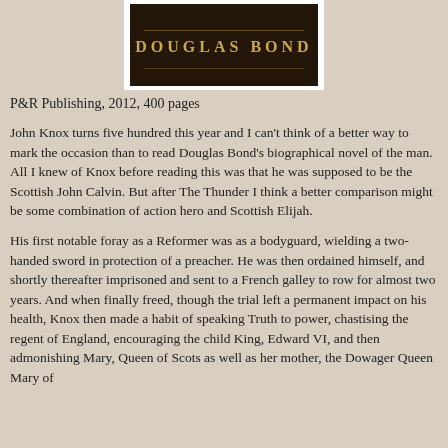[Figure (photo): Book cover showing 'DOUGLAS BOND' text in gold letters on a dark background]
P&R Publishing, 2012, 400 pages
John Knox turns five hundred this year and I can't think of a better way to mark the occasion than to read Douglas Bond's biographical novel of the man. All I knew of Knox before reading this was that he was supposed to be the Scottish John Calvin. But after The Thunder I think a better comparison might be some combination of action hero and Scottish Elijah.
His first notable foray as a Reformer was as a bodyguard, wielding a two-handed sword in protection of a preacher. He was then ordained himself, and shortly thereafter imprisoned and sent to a French galley to row for almost two years. And when finally freed, though the trial left a permanent impact on his health, Knox then made a habit of speaking Truth to power, chastising the regent of England, encouraging the child King, Edward VI, and then admonishing Mary, Queen of Scots as well as her mother, the Dowager Queen Mary of